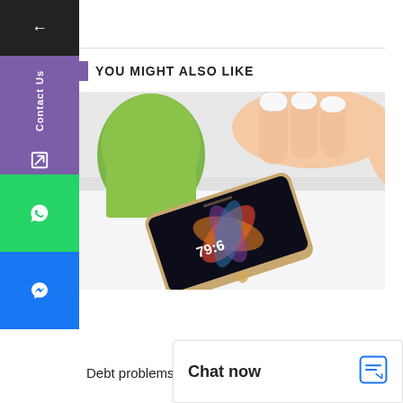YOU MIGHT ALSO LIKE
[Figure (photo): Person with French-manicured nails tapping on an iPhone screen, with a green apple mug in background]
Debt problems t
Chat now